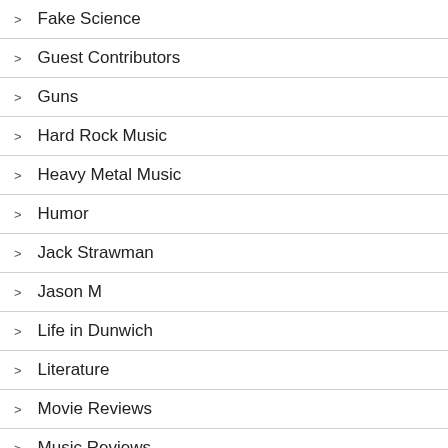Fake Science
Guest Contributors
Guns
Hard Rock Music
Heavy Metal Music
Humor
Jack Strawman
Jason M
Life in Dunwich
Literature
Movie Reviews
Music Reviews
My Fiction